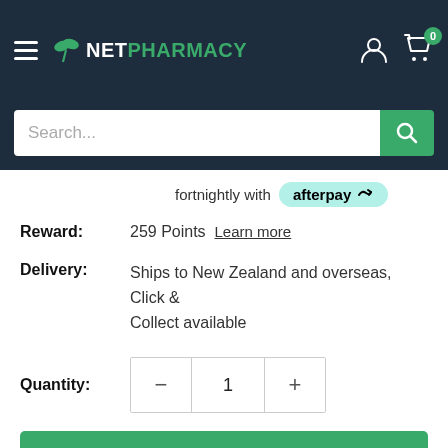NetPharmacy
fortnightly with afterpay
Reward: 259 Points  Learn more
Delivery: Ships to New Zealand and overseas, Click & Collect available
Quantity: 1
Add to cart